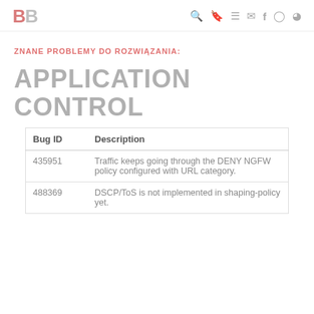BB [logo] with search, bookmark, menu, mail, facebook, instagram, rss icons
ZNANE PROBLEMY DO ROZWIĄZANIA:
APPLICATION CONTROL
| Bug ID | Description |
| --- | --- |
| 435951 | Traffic keeps going through the DENY NGFW policy configured with URL category. |
| 488369 | DSCP/ToS is not implemented in shaping-policy yet. |